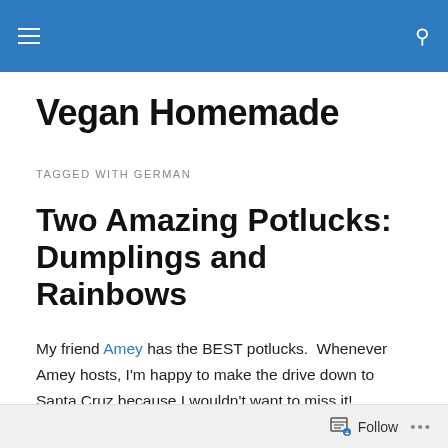Vegan Homemade [navigation bar with hamburger menu and search icon]
Vegan Homemade
TAGGED WITH GERMAN
Two Amazing Potlucks: Dumplings and Rainbows
My friend Amey has the BEST potlucks.  Whenever Amey hosts, I'm happy to make the drive down to Santa Cruz because I wouldn't want to miss it!
Back in July, the Santa Cruz PPKers had the brilliant idea
Follow ...